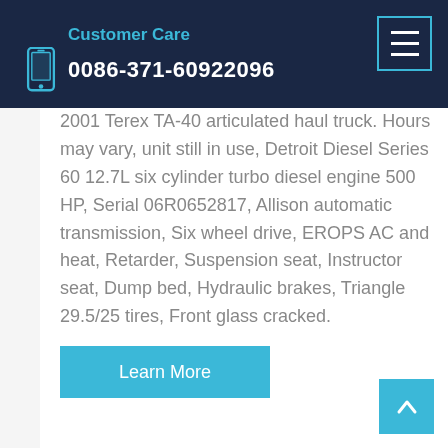Customer Care 0086-371-60922096
2001 Terex TA-40 articulated haul truck. Hours may vary, unit still in use, Detroit Diesel Series 60 12.7L six cylinder turbo diesel engine 500 HP, Serial 06R0652817, Allison automatic transmission, Six wheel drive, EROPS AC and heat, Retarder, Suspension seat, Instructor seat, Dump bed, Hydraulic brakes, Triangle 29.5/25 tires, Front glass cracked.
Learn More